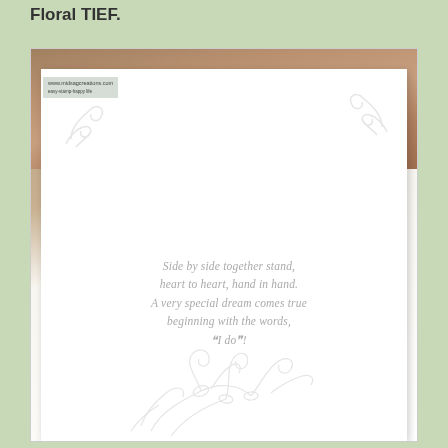Floral TIEF.
[Figure (photo): A white embossed greeting card with cursive poem text reading 'Side by side together stand, heart to heart, hand in hand. A very special dream comes true beginning with the words, 'I do'!' The card features embossed swirl decorations at the top corners and an embossed floral design at the bottom. The card rests on a wooden surface. A watermark in the upper left reads www.midsagcreations.com.]